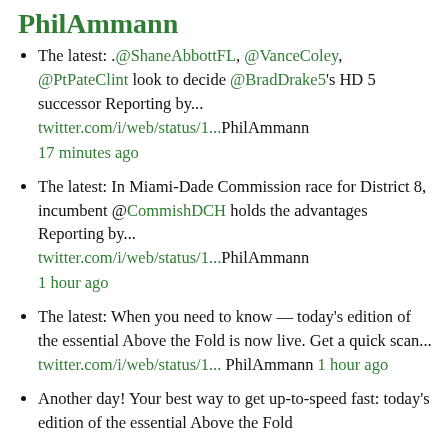PhilAmmann
The latest: .@ShaneAbbottFL, @VanceColey, @PtPateClint look to decide @BradDrake5's HD 5 successor Reporting by... twitter.com/i/web/status/1...PhilAmmann 17 minutes ago
The latest: In Miami-Dade Commission race for District 8, incumbent @CommishDCH holds the advantages Reporting by... twitter.com/i/web/status/1...PhilAmmann 1 hour ago
The latest: When you need to know — today's edition of the essential Above the Fold is now live. Get a quick scan... twitter.com/i/web/status/1... PhilAmmann 1 hour ago
Another day! Your best way to get up-to-speed fast: today's edition of the essential Above the Fold